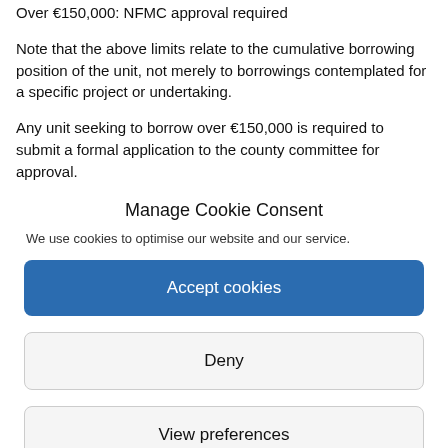Over €150,000: NFMC approval required
Note that the above limits relate to the cumulative borrowing position of the unit, not merely to borrowings contemplated for a specific project or undertaking.
Any unit seeking to borrow over €150,000 is required to submit a formal application to the county committee for approval.
Manage Cookie Consent
We use cookies to optimise our website and our service.
Accept cookies
Deny
View preferences